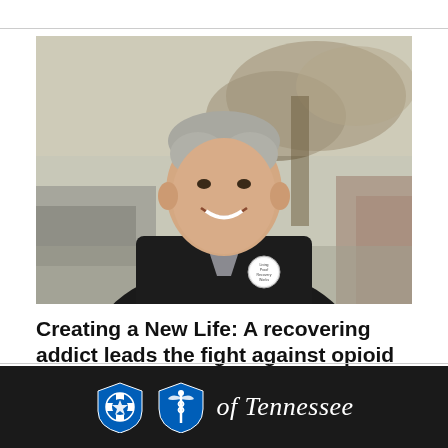[Figure (photo): A middle-aged man wearing a dark blazer and a button on his lapel smiling outdoors with trees and a blurred street background]
Creating a New Life: A recovering addict leads the fight against opioid addiction
[Figure (logo): BlueCross BlueShield of Tennessee logo — two shield icons with cross symbols and the text 'of Tennessee' in white italic on dark background]